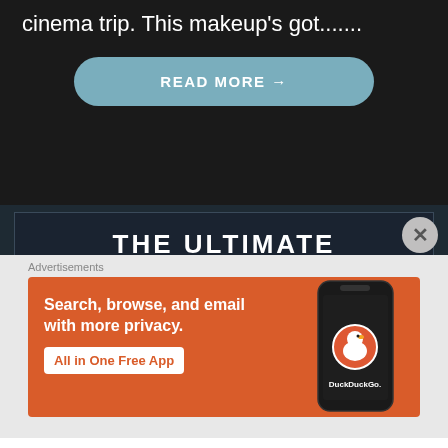cinema trip. This makeup's got.......
READ MORE →
THE ULTIMATE
Advertisements
[Figure (screenshot): DuckDuckGo advertisement banner with orange background showing 'Search, browse, and email with more privacy. All in One Free App' text alongside a phone showing the DuckDuckGo app]